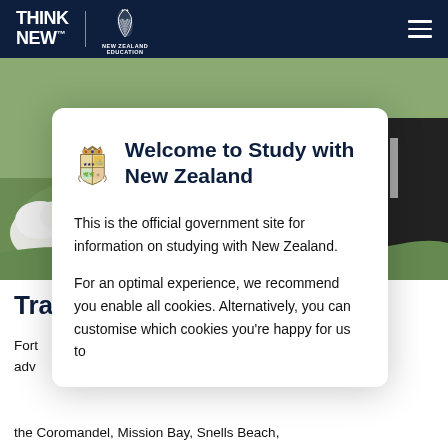THINK NEW | NEW ZEALAND EDUCATION
[Figure (photo): Hero photograph showing a person feeding or petting a white sheep near a fence, with green farmland in the background and a person in a dark jacket visible on the right side.]
Welcome to Study with New Zealand
This is the official government site for information on studying with New Zealand.
For an optimal experience, we recommend you enable all cookies. Alternatively, you can customise which cookies you're happy for us to
Tra
Fory and advoh, the Coromandel, Mission Bay, Snells Beach,